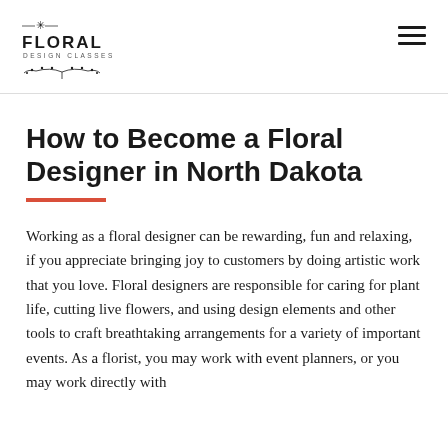FLORAL DESIGN CLASSES
How to Become a Floral Designer in North Dakota
Working as a floral designer can be rewarding, fun and relaxing, if you appreciate bringing joy to customers by doing artistic work that you love. Floral designers are responsible for caring for plant life, cutting live flowers, and using design elements and other tools to craft breathtaking arrangements for a variety of important events. As a florist, you may work with event planners, or you may work directly with